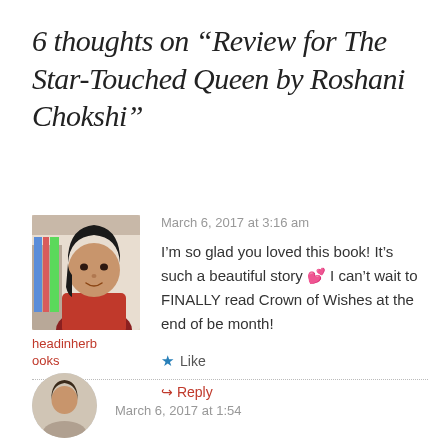6 thoughts on “Review for The Star-Touched Queen by Roshani Chokshi”
March 6, 2017 at 3:16 am
[Figure (photo): Profile photo of headinherbooks - a woman in a red/pink top with dark hair]
headinherbooks
I’m so glad you loved this book! It’s such a beautiful story 💕 I can’t wait to FINALLY read Crown of Wishes at the end of be month!
★ Like
↪ Reply
[Figure (photo): Partial profile photo at the bottom of the page (avatar, cropped)]
March 6, 2017 at 1:54